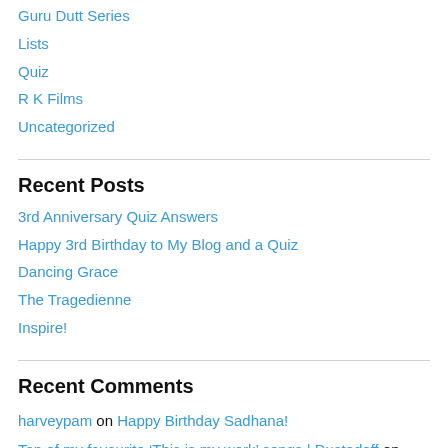Guru Dutt Series
Lists
Quiz
R K Films
Uncategorized
Recent Posts
3rd Anniversary Quiz Answers
Happy 3rd Birthday to My Blog and a Quiz
Dancing Grace
The Tragedienne
Inspire!
Recent Comments
harveypam on Happy Birthday Sadhana!
Ten of my favourite ‘This is my work’ songs | Dustedoff on This Singing